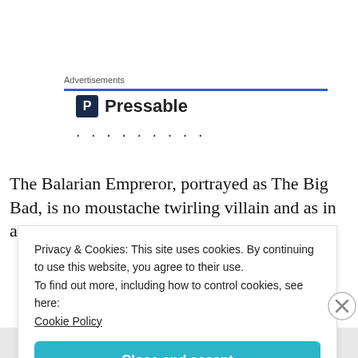Advertisements
[Figure (logo): Pressable logo with blue P icon and text 'Pressable' followed by dots]
The Balarian Empreror, portrayed as The Big Bad, is no moustache twirling villain and as in any good story, the
Privacy & Cookies: This site uses cookies. By continuing to use this website, you agree to their use.
To find out more, including how to control cookies, see here:
Cookie Policy
Close and accept